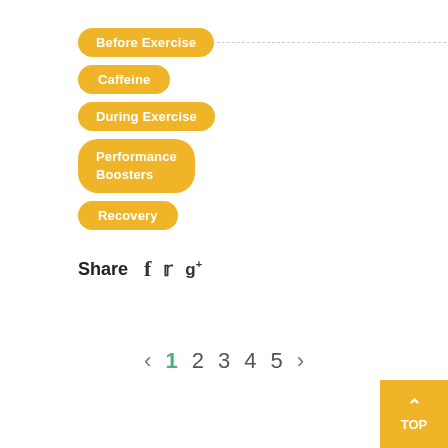Before Exercise
Caffeine
During Exercise
Performance Boosters
Recovery
Share
1 2 3 4 5